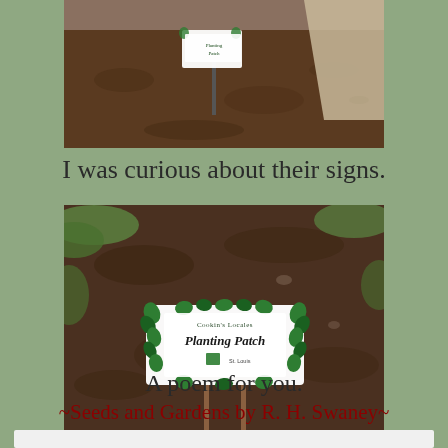[Figure (photo): Photo of a garden bed with dark soil and a small sign on a stake, with a concrete path visible at the edge.]
I was curious about their signs.
[Figure (photo): Close-up photo of a garden bed with dark soil, green grass at the edges, and a decorative sign reading 'Planting Patch' with leaf decorations.]
A poem for you.
~Seeds and Gardens by R. H. Swaney~